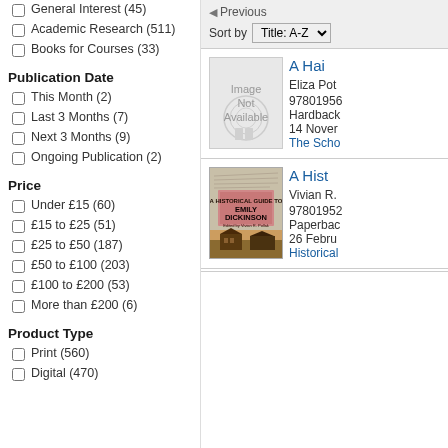General Interest (45)
Academic Research (511)
Books for Courses (33)
Publication Date
This Month (2)
Last 3 Months (7)
Next 3 Months (9)
Ongoing Publication (2)
Price
Under £15 (60)
£15 to £25 (51)
£25 to £50 (187)
£50 to £100 (203)
£100 to £200 (53)
More than £200 (6)
Product Type
Print (560)
Digital (470)
◀ Previous
Sort by Title: A-Z
[Figure (illustration): Book cover placeholder: grey box with 'Image Not Available' text and faint watermark logo]
A Hai...
Eliza Pot...
97801956...
Hardback...
14 Nover...
The Scho...
[Figure (illustration): Book cover: A Historical Guide to Emily Dickinson, edited by Vivian R. Pollak, with pink badge title on manuscript background and house image at bottom]
A Hist...
Vivian R....
97801952...
Paperbac...
26 Febru...
Historical...